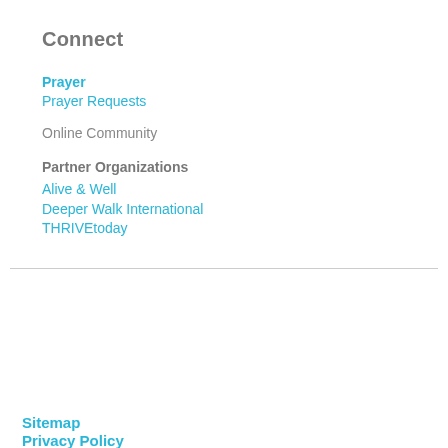Connect
Prayer
Prayer Requests
Online Community
Partner Organizations
Alive & Well
Deeper Walk International
THRIVEtoday
Sitemap
Privacy Policy